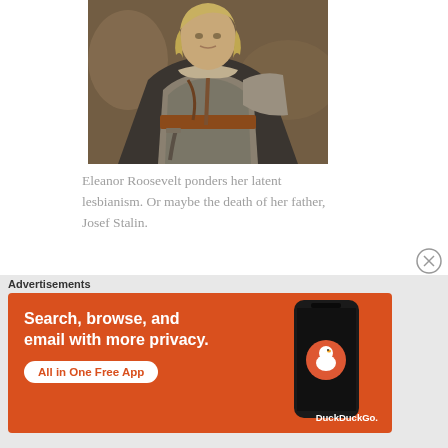[Figure (photo): Person dressed in medieval chainmail armor and a dark cloak, with blonde hair, holding a sword, standing outdoors in a battle or historical scene setting.]
Eleanor Roosevelt ponders her latent lesbianism. Or maybe the death of her father, Josef Stalin.
Advertisements
[Figure (other): DuckDuckGo advertisement banner with orange background. Text reads: Search, browse, and email with more privacy. All in One Free App. Shows a smartphone with DuckDuckGo logo.]